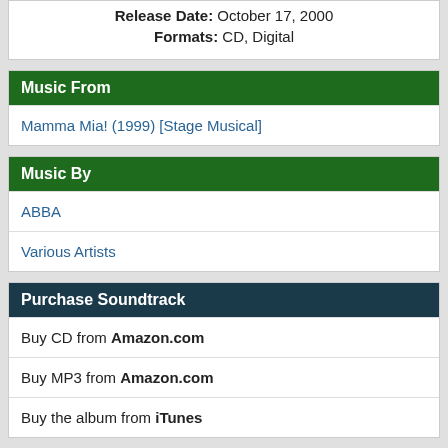Release Date: October 17, 2000
Formats: CD, Digital
Music From
Mamma Mia! (1999) [Stage Musical]
Music By
ABBA
Various Artists
Purchase Soundtrack
Buy CD from Amazon.com
Buy MP3 from Amazon.com
Buy the album from iTunes
Track Listing